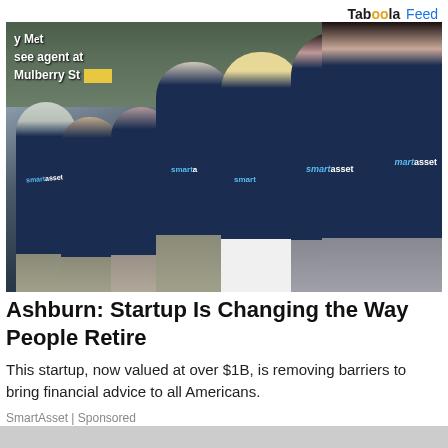Taboola Feed
[Figure (photo): Group of seven people wearing navy blue SmartAsset branded t-shirts, posing on outdoor steps near a sign reading 'see agent at Mulberry St']
Ashburn: Startup Is Changing the Way People Retire
This startup, now valued at over $1B, is removing barriers to bring financial advice to all Americans.
SmartAsset | Sponsored